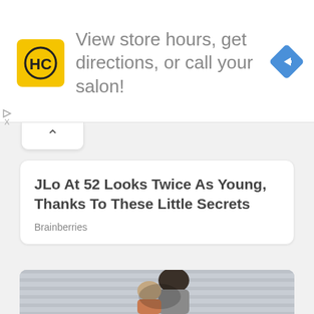[Figure (screenshot): Advertisement banner with yellow HC logo, text 'View store hours, get directions, or call your salon!' and blue diamond navigation icon]
JLo At 52 Looks Twice As Young, Thanks To These Little Secrets
Brainberries
[Figure (photo): Two people embracing and kissing, standing against a grey corrugated metal wall background. Man with dark hair wearing grey t-shirt, woman with light hair.]